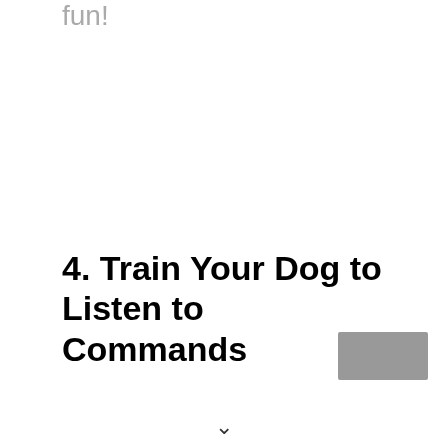fun!
4. Train Your Dog to Listen to Commands